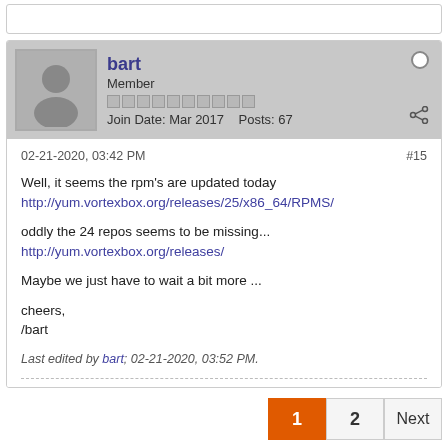[Figure (screenshot): Top stub of a previous forum post (partially visible)]
bart
Member
Join Date: Mar 2017  Posts: 67
02-21-2020, 03:42 PM
#15
Well, it seems the rpm's are updated today
http://yum.vortexbox.org/releases/25/x86_64/RPMS/
oddly the 24 repos seems to be missing...
http://yum.vortexbox.org/releases/
Maybe we just have to wait a bit more ...
cheers,
/bart
Last edited by bart; 02-21-2020, 03:52 PM.
1  2  Next